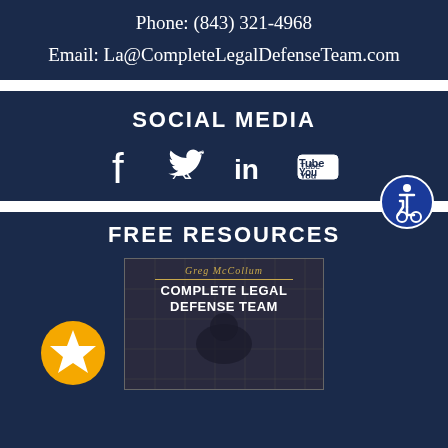Phone: (843) 321-4968
Email: La@CompleteLegalDefenseTeam.com
SOCIAL MEDIA
[Figure (infographic): Social media icons: Facebook, Twitter, LinkedIn, YouTube]
[Figure (infographic): Accessibility badge icon (wheelchair symbol in blue circle)]
FREE RESOURCES
[Figure (illustration): Book cover: Greg McCollum - Complete Legal Defense Team, with person holding head in hands background]
[Figure (infographic): Gold star badge/icon]